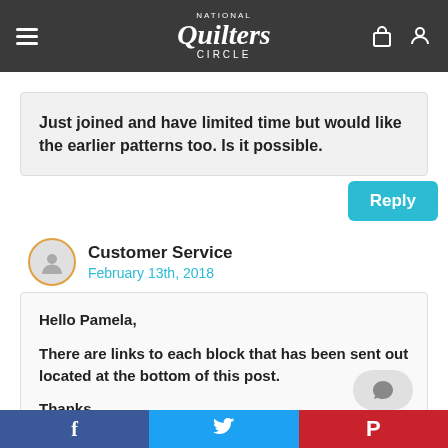National Quilters Circle
Just joined and have limited time but would like the earlier patterns too. Is it possible.
Reply
Customer Service
February 13th, 2018
Hello Pamela,

There are links to each block that has been sent out located at the bottom of this post.

Thanks,
Becky NOC Video Membership